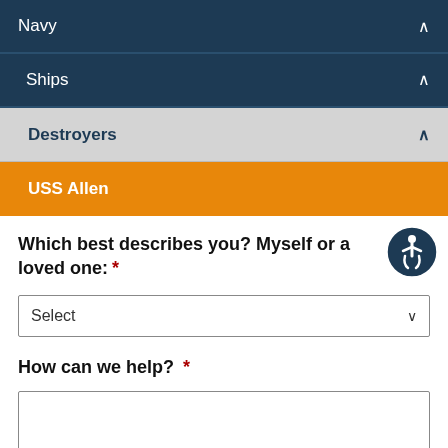Navy
Ships
Destroyers
USS Allen
Which best describes you? Myself or a loved one: *
Select
How can we help? *